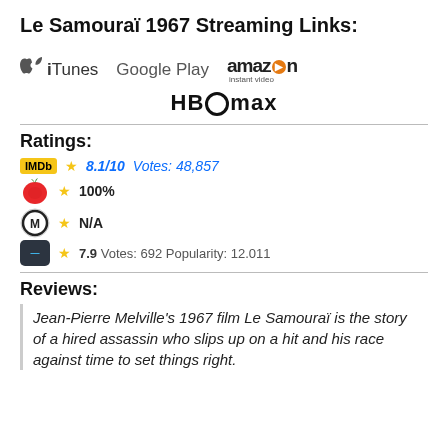Le Samouraï 1967 Streaming Links:
[Figure (logo): iTunes, Google Play, Amazon Instant Video, and HBO Max streaming service logos]
Ratings:
IMDb ★8.1/10 Votes: 48,857
★100%
★N/A
★7.9 Votes: 692 Popularity: 12.011
Reviews:
Jean-Pierre Melville's 1967 film Le Samouraï is the story of a hired assassin who slips up on a hit and his race against time to set things right.